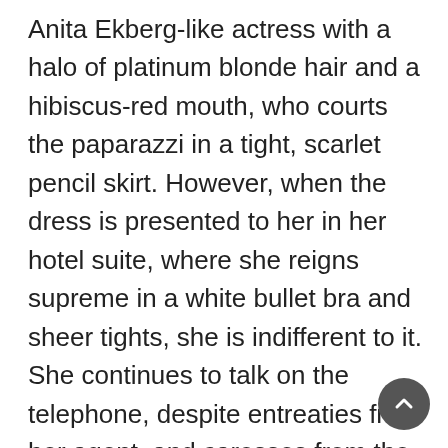Anita Ekberg-like actress with a halo of platinum blonde hair and a hibiscus-red mouth, who courts the paparazzi in a tight, scarlet pencil skirt. However, when the dress is presented to her in her hotel suite, where she reigns supreme in a white bullet bra and sheer tights, she is indifferent to it. She continues to talk on the telephone, despite entreaties from her agent, and caresses from the garment itself. After a tantrum, she reluctantly agrees to wear it, but the moment she touches it, the scorned dress mysteriously pricks her finger, and a drop of blood stains its white surface. It